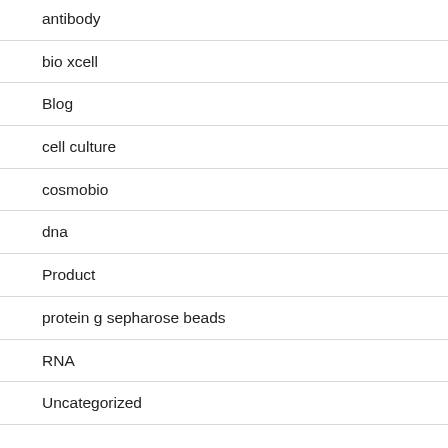antibody
bio xcell
Blog
cell culture
cosmobio
dna
Product
protein g sepharose beads
RNA
Uncategorized